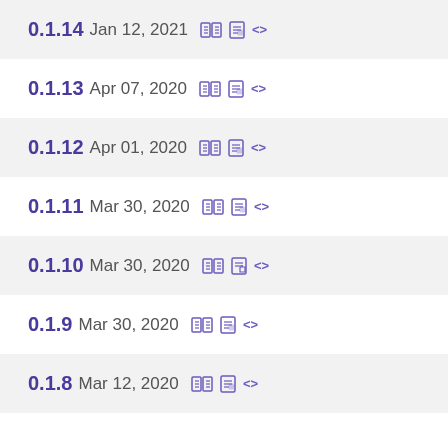0.1.14 Jan 12, 2021
0.1.13 Apr 07, 2020
0.1.12 Apr 01, 2020
0.1.11 Mar 30, 2020
0.1.10 Mar 30, 2020
0.1.9 Mar 30, 2020
0.1.8 Mar 12, 2020